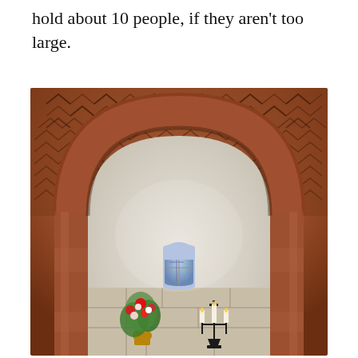hold about 10 people, if they aren't too large.
[Figure (photo): Interior of a small Romanesque chapel showing a stone arch with chevron/zigzag carved decorations on the vault ceiling. Through the arch is a white-plastered apse with a small stained glass window, a floral arrangement on the altar, and a candlestick. The stonework is warm reddish-brown.]